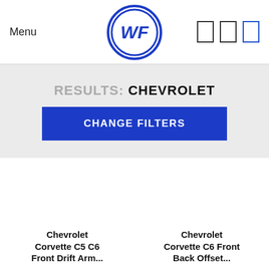Menu | WF Logo | [icons]
RESULTS: CHEVROLET
CHANGE FILTERS
Chevrolet Corvette C5 C6 Front Drift Arms
Chevrolet Corvette C6 Front Back Offset...